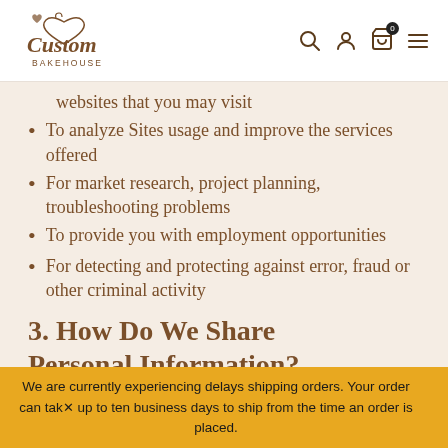Custom Bakehouse
websites that you may visit
To analyze Sites usage and improve the services offered
For market research, project planning, troubleshooting problems
To provide you with employment opportunities
For detecting and protecting against error, fraud or other criminal activity
3. How Do We Share Personal Information?
Affiliates and Service Providers. We share
We are currently experiencing delays shipping orders. Your order can take up to ten business days to ship from the time an order is placed.